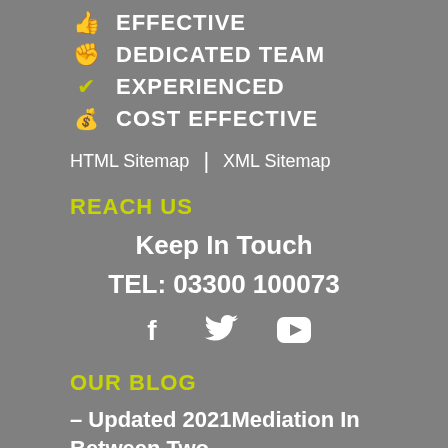👍 EFFECTIVE
✋ DEDICATED TEAM
✔ EXPERIENCED
💰 COST EFFECTIVE
HTML Sitemap | XML Sitemap
REACH US
Keep In Touch
TEL: 03300 100073
[Figure (infographic): Social media icons: Facebook, Twitter, YouTube]
OUR BLOG
– Updated 2021Mediation In Between Two